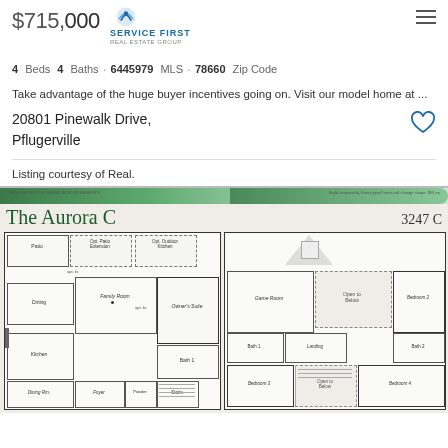$715,000
4 Beds · 4 Baths · 6445979 MLS · 78660 Zip Code
Take advantage of the huge buyer incentives going on. Visit our model home at ...
20801 Pinewalk Drive, Pflugerville
Listing courtesy of Real.
[Figure (engineering-diagram): Floor plan of 'The Aurora C' model home (3247 C), showing two-story layout with rooms labeled: Patio, Opt. Patio Extension, Opt. Outdoor Kitchen, Dining, Family Room, Owner's Suite, Kitchen, Bath 1, Powder, Foyer, Stairs, Dining Rm on first floor; Game Room, Open to Below, Bedroom 2, Bedroom 3, Bedroom 4, Bath 1, Bath 2, Landing on second floor.]